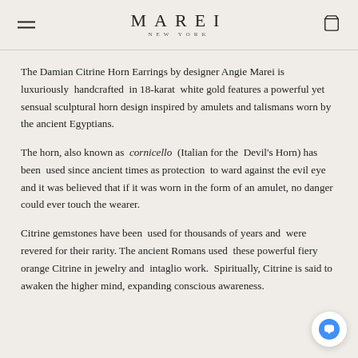MAREI NEW YORK
The Damian Citrine Horn Earrings by designer Angie Marei is luxuriously handcrafted in 18-karat white gold features a powerful yet sensual sculptural horn design inspired by amulets and talismans worn by the ancient Egyptians.
The horn, also known as cornicello (Italian for the Devil's Horn) has been used since ancient times as protection to ward against the evil eye and it was believed that if it was worn in the form of an amulet, no danger could ever touch the wearer.
Citrine gemstones have been used for thousands of years and were revered for their rarity. The ancient Romans used these powerful fiery orange Citrine in jewelry and intaglio work. Spiritually, Citrine is said to awaken the higher mind, expanding conscious awareness.